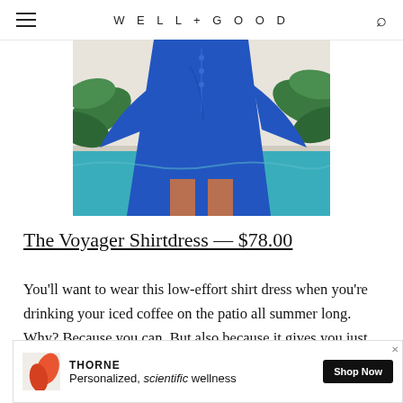WELL+GOOD
[Figure (photo): Person wearing a blue linen oversized shirt dress standing near a pool with tropical greenery in the background]
The Voyager Shirtdress — $78.00
You'll want to wear this low-effort shirt dress when you're drinking your iced coffee on the patio all summer long. Why? Because you can. But also because it gives you just the right amount of coverage without feeling heavy. If those sleeves feel too cumbersome,
[Figure (other): Advertisement for THORNE: Personalized, scientific wellness with Shop Now button]